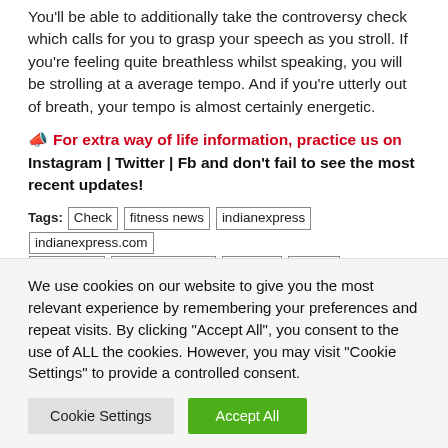You'll be able to additionally take the controversy check which calls for you to grasp your speech as you stroll. If you're feeling quite breathless whilst speaking, you will be strolling at a average tempo. And if you're utterly out of breath, your tempo is almost certainly energetic.
📣 For extra way of life information, practice us on Instagram | Twitter | Fb and don't fail to see the most recent updates!
Tags: Check | fitness news | indianexpress | indianexpress.com | Nutritionist | physical activity | reasons | shares | should you be walking | walk | walking and fitness | walking benefits | why
We use cookies on our website to give you the most relevant experience by remembering your preferences and repeat visits. By clicking "Accept All", you consent to the use of ALL the cookies. However, you may visit "Cookie Settings" to provide a controlled consent.